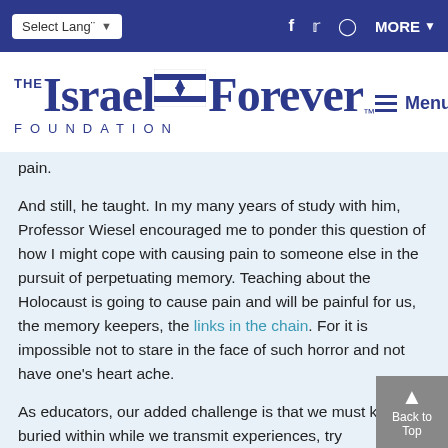Select Language | f | twitter | instagram | MORE
[Figure (logo): The Israel Forever Foundation logo with Israeli flag graphic and menu button]
pain.
And still, he taught. In my many years of study with him, Professor Wiesel encouraged me to ponder this question of how I might cope with causing pain to someone else in the pursuit of perpetuating memory. Teaching about the Holocaust is going to cause pain and will be painful for us, the memory keepers, the links in the chain. For it is impossible not to stare in the face of such horror and not have one's heart ache.
As educators, our added challenge is that we must ke ache buried within while we transmit experiences, try